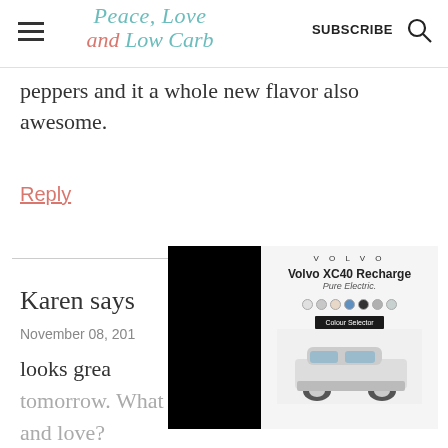Peace, Love and Low Carb — SUBSCRIBE
peppers and it a whole new flavor also awesome.
Reply
Karen says
November 08, 201...
looks grea... tomorrow. What is 2tbs peace and love?
[Figure (screenshot): Volvo XC40 Recharge Pure Electric advertisement overlay with car image and color selector dots]